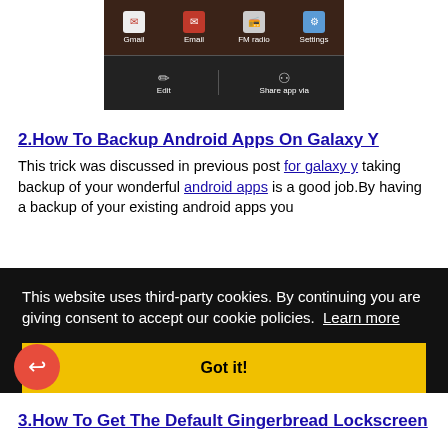[Figure (screenshot): Android phone screenshot showing app icons: Gmail, Email, FM radio, Settings (top row) and Edit, Share app via (bottom row) on a dark brown background.]
2.How To Backup Android Apps On Galaxy Y
This trick was discussed in previous post for galaxy y taking backup of your wonderful android apps is a good job.By having a backup of your existing android apps you
This website uses third-party cookies. By continuing you are giving consent to accept our cookie policies. Learn more
Got it!
3.How To Get The Default Gingerbread Lockscreen